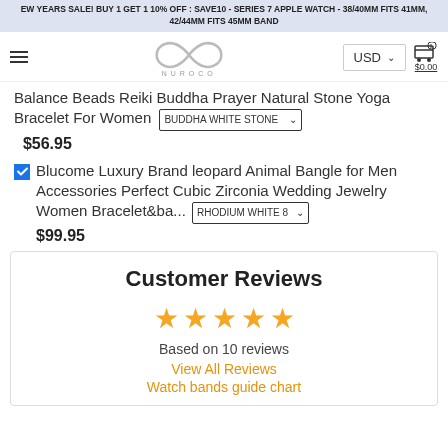EW YEARS SALE! BUY 1 GET 1 10% OFF : SAVE10 - SERIES 7 APPLE WATCH - 38/40MM FITS 41MM, 42/44MM FITS 45MM BAND
Balance Beads Reiki Buddha Prayer Natural Stone Yoga Bracelet For Women   BUDDHA WHITE STONE ⌄
$56.95
☑ Blucome Luxury Brand leopard Animal Bangle for Men Accessories Perfect Cubic Zirconia Wedding Jewelry Women Bracelet&ba...   RHODIUM WHITE 8 ⌄
$99.95
Customer Reviews
★★★★★
Based on 10 reviews
View All Reviews
Watch bands guide chart